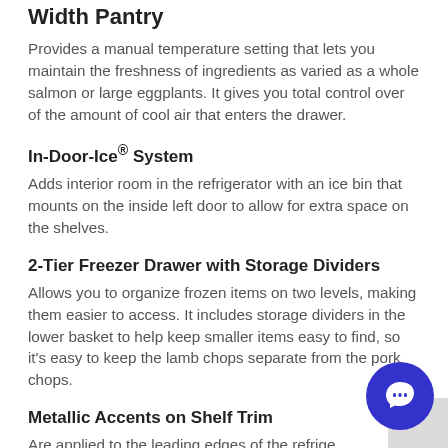Width Pantry
Provides a manual temperature setting that lets you maintain the freshness of ingredients as varied as a whole salmon or large eggplants. It gives you total control over of the amount of cool air that enters the drawer.
In-Door-Ice® System
Adds interior room in the refrigerator with an ice bin that mounts on the inside left door to allow for extra space on the shelves.
2-Tier Freezer Drawer with Storage Dividers
Allows you to organize frozen items on two levels, making them easier to access. It includes storage dividers in the lower basket to help keep smaller items easy to find, so it's easy to keep the lamb chops separate from the pork chops.
Metallic Accents on Shelf Trim
Are applied to the leading edges of the refrigerator shelves. These rich accents complement the gloss finish of the interior, to make finding your